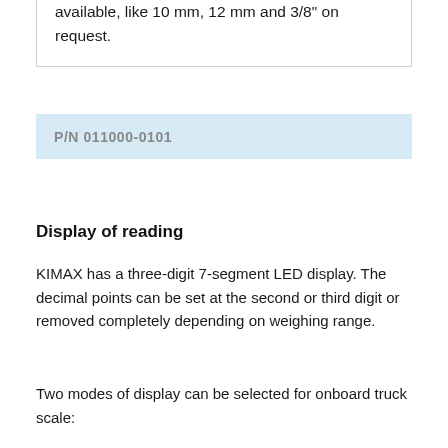available, like 10 mm, 12 mm and 3/8" on request.
P/N 011000-0101
Display of reading
KIMAX has a three-digit 7-segment LED display. The decimal points can be set at the second or third digit or removed completely depending on weighing range.
Two modes of display can be selected for onboard truck scale: